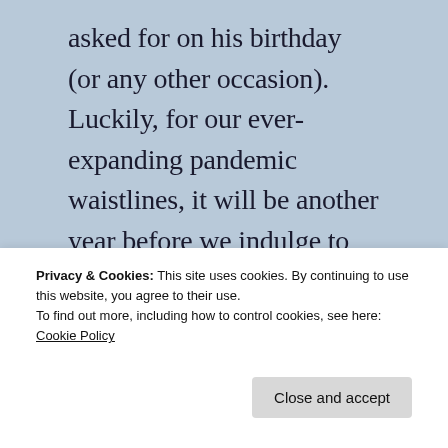asked for on his birthday (or any other occasion). Luckily, for our ever-expanding pandemic waistlines, it will be another year before we indulge to this degree. But it was kinda worth it. 🙂
[Figure (photo): Close-up photo of a dessert with ice cream, dark chocolate, and what appears to be berries or fruit sauce, with a bowl visible in the background.]
Privacy & Cookies: This site uses cookies. By continuing to use this website, you agree to their use.
To find out more, including how to control cookies, see here: Cookie Policy